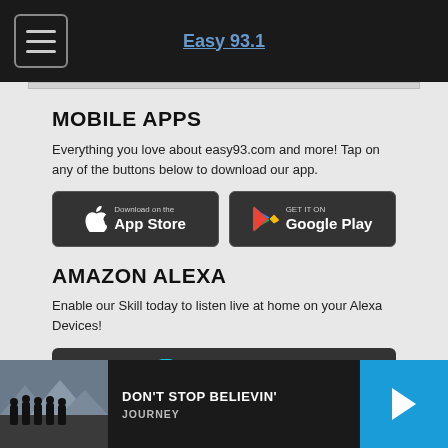Easy 93.1
MOBILE APPS
Everything you love about easy93.com and more! Tap on any of the buttons below to download our app.
[Figure (screenshot): Download on the App Store button (dark background)]
[Figure (screenshot): Get it on Google Play button (dark background)]
AMAZON ALEXA
Enable our Skill today to listen live at home on your Alexa Devices!
[Figure (screenshot): Just Ask Amazon Alexa button (dark background)]
DON'T STOP BELIEVIN'
JOURNEY